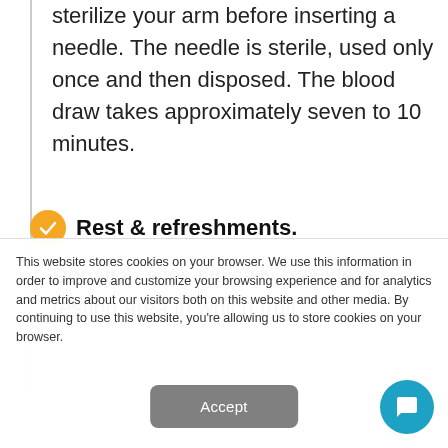sterilize your arm before inserting a needle. The needle is sterile, used only once and then disposed. The blood draw takes approximately seven to 10 minutes.
Rest & refreshments.
Donation sites typically provide a resting area in which fruit
This website stores cookies on your browser. We use this information in order to improve and customize your browsing experience and for analytics and metrics about our visitors both on this website and other media. By continuing to use this website, you're allowing us to store cookies on your browser.